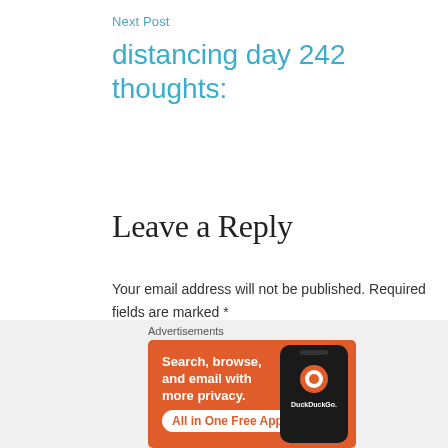Next Post
distancing day 242 thoughts:
Leave a Reply
Your email address will not be published. Required fields are marked *
Comment *
[Figure (screenshot): DuckDuckGo advertisement banner: orange background with text 'Search, browse, and email with more privacy. All in One Free App' and a phone showing the DuckDuckGo logo]
Advertisements